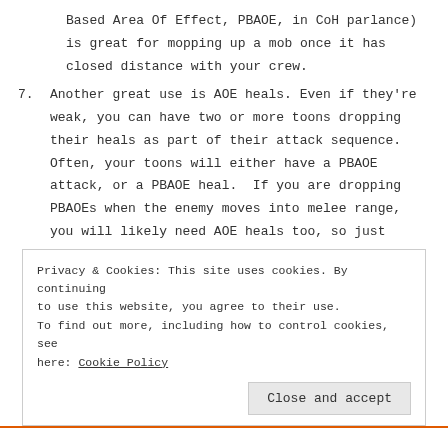Based Area Of Effect, PBAOE, in CoH parlance) is great for mopping up a mob once it has closed distance with your crew.
7. Another great use is AOE heals. Even if they're weak, you can have two or more toons dropping their heals as part of their attack sequence. Often, your toons will either have a PBAOE attack, or a PBAOE heal. If you are dropping PBAOEs when the enemy moves into melee range, you will likely need AOE heals too, so just have everyone drop them at once.
Privacy & Cookies: This site uses cookies. By continuing to use this website, you agree to their use. To find out more, including how to control cookies, see here: Cookie Policy
Close and accept